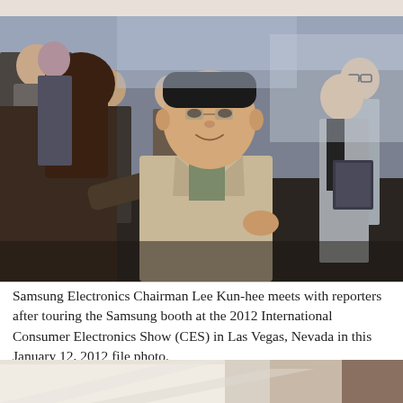[Figure (photo): Samsung Electronics Chairman Lee Kun-hee shaking hands with a reporter, surrounded by a group of people, taken at the 2012 International Consumer Electronics Show (CES) in Las Vegas, Nevada.]
Samsung Electronics Chairman Lee Kun-hee meets with reporters after touring the Samsung booth at the 2012 International Consumer Electronics Show (CES) in Las Vegas, Nevada in this January 12, 2012 file photo.
[Figure (photo): Partial view of another photo at the bottom of the page, showing light-colored surfaces and a partial view of a person.]